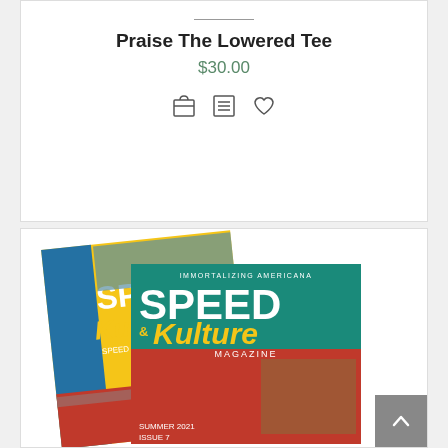Praise The Lowered Tee
$30.00
[Figure (illustration): Three action icons: shopping cart/inbox, list/menu, and heart/wishlist]
[Figure (photo): Two Speed & Kulture magazine covers stacked, showing colorful vintage car photography. Front cover reads IMMORTALIZING AMERICANA, SPEED & Kulture MAGAZINE, SUMMER 2021, ISSUE 7]